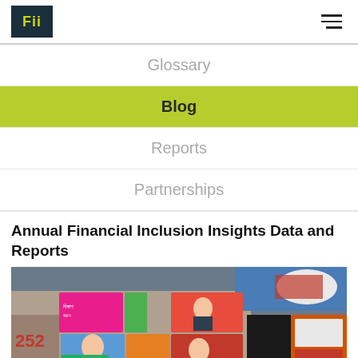Fii
Glossary
Blog
Reports
Partnerships
Annual Financial Inclusion Insights Data and Reports
[Figure (photo): Street vendor stall with colorful mobile money and telecom advertisement posters (including bKash) on a wall, with a person sitting in front]